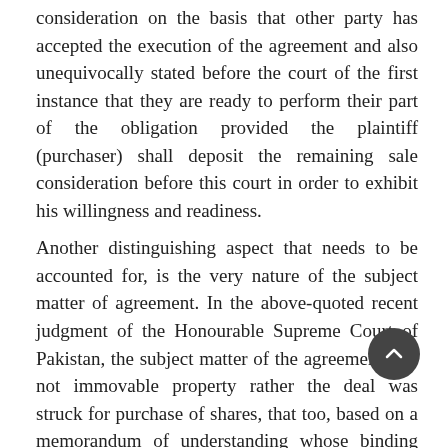consideration on the basis that other party has accepted the execution of the agreement and also unequivocally stated before the court of the first instance that they are ready to perform their part of the obligation provided the plaintiff (purchaser) shall deposit the remaining sale consideration before this court in order to exhibit his willingness and readiness.
Another distinguishing aspect that needs to be accounted for, is the very nature of the subject matter of agreement. In the above-quoted recent judgment of the Honourable Supreme Court of Pakistan, the subject matter of the agreement was not immovable property rather the deal was struck for purchase of shares, that too, based on a memorandum of understanding whose binding nature is also fragile. Nevertheless, the Honourable Lahore High Court while expressing its reverence to the dictum of August Court, humbly distinguished the law and facts while holding
“The alleged agreement to sell is a bilateral document and